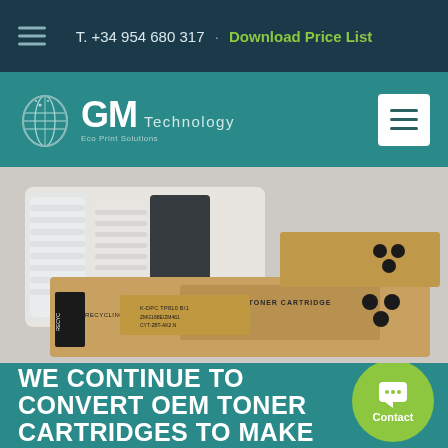T. +34 954 680 317 · Download Price List
[Figure (logo): GM Technology Eco Print Solutions logo with globe icon on teal background with hamburger menu button]
[Figure (photo): Toner cartridges in cardboard boxes on a white surface, showing recycling labels and toner cartridge markings]
WE CONTINUE TO CONVERT OEM TONER CARTRIDGES TO MAKE